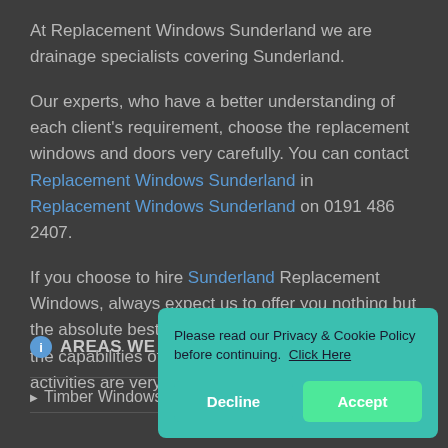At Replacement Windows Sunderland we are drainage specialists covering Sunderland.
Our experts, who have a better understanding of each client's requirement, choose the replacement windows and doors very carefully. You can contact Replacement Windows Sunderland in Replacement Windows Sunderland on 0191 486 2407.
If you choose to hire Sunderland Replacement Windows, always expect us to offer you nothing but the absolute best replacement windows. Hence, the capabilities of the company carrying out these activities are very vital.
AREAS WE COVER
Timber Windows
Please read our Privacy & Cookie Policy before continuing. Click Here
Decline
Accept